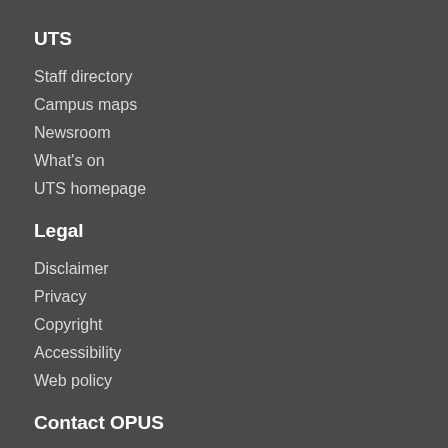UTS
Staff directory
Campus maps
Newsroom
What's on
UTS homepage
Legal
Disclaimer
Privacy
Copyright
Accessibility
Web policy
Contact OPUS
Email